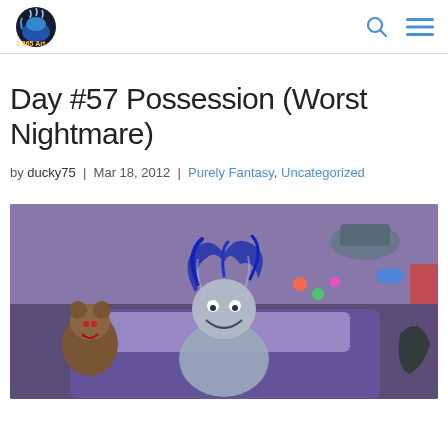1 365 Art [logo with search and menu icons]
Day #57 Possession (Worst Nightmare)
by ducky75 | Mar 18, 2012 | Purely Fantasy, Uncategorized
[Figure (illustration): Digital illustration of a possessed girl with wild hair lying on a bed, surrounded by floating objects and a demonic teddy bear in a purple-toned bedroom scene]